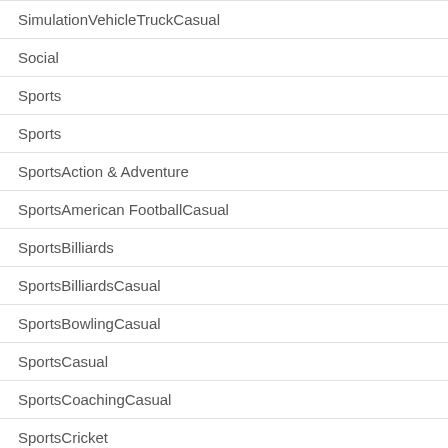| SimulationVehicleTruckCasual |
| Social |
| Sports |
| Sports |
| SportsAction & Adventure |
| SportsAmerican FootballCasual |
| SportsBilliards |
| SportsBilliardsCasual |
| SportsBowlingCasual |
| SportsCasual |
| SportsCoachingCasual |
| SportsCricket |
| SportsGolfCasual |